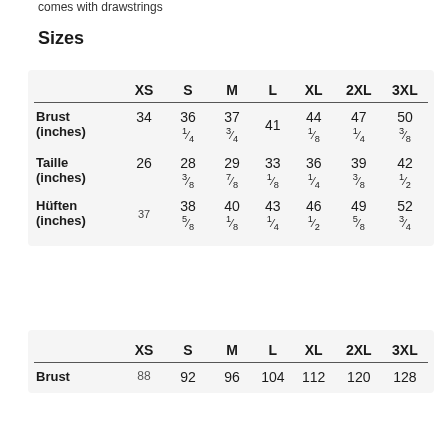comes with drawstrings
Sizes
|  | XS | S | M | L | XL | 2XL | 3XL |
| --- | --- | --- | --- | --- | --- | --- | --- |
| Brust (inches) | 34 | 36 1/4 | 37 3/4 | 41 | 44 1/8 | 47 1/4 | 50 3/8 |
| Taille (inches) | 26 | 28 3/8 | 29 7/8 | 33 1/8 | 36 1/4 | 39 3/8 | 42 1/2 |
| Hüften (inches) | 37 | 38 5/8 | 40 1/8 | 43 1/4 | 46 1/2 | 49 5/8 | 52 3/4 |
|  | XS | S | M | L | XL | 2XL | 3XL |
| --- | --- | --- | --- | --- | --- | --- | --- |
| Brust | 88 | 92 | 96 | 104 | 112 | 120 | 128 |